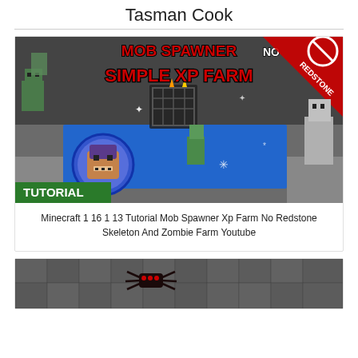Tasman Cook
[Figure (screenshot): Minecraft YouTube thumbnail showing 'MOB SPAWNER NO REDSTONE SIMPLE XP FARM TUTORIAL' with zombie and skeleton characters on a blue water floor with a mob spawner cage, and a no-redstone badge in the corner.]
Minecraft 1 16 1 13 Tutorial Mob Spawner Xp Farm No Redstone Skeleton And Zombie Farm Youtube
[Figure (screenshot): Minecraft screenshot showing a dark cave with a spider or cave spider in a stone environment.]